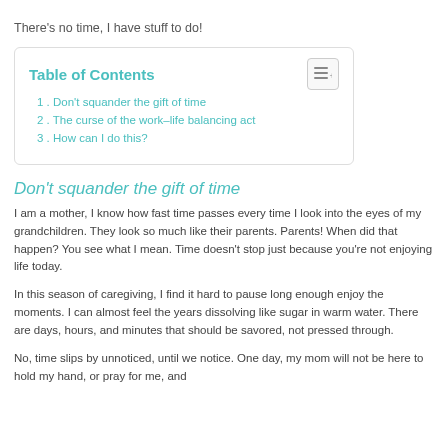There's no time, I have stuff to do!
| Table of Contents |
| --- |
| 1. Don't squander the gift of time |
| 2. The curse of the work–life balancing act |
| 3. How can I do this? |
Don't squander the gift of time
I am a mother, I know how fast time passes every time I look into the eyes of my grandchildren. They look so much like their parents. Parents! When did that happen? You see what I mean. Time doesn't stop just because you're not enjoying life today.
In this season of caregiving, I find it hard to pause long enough enjoy the moments. I can almost feel the years dissolving like sugar in warm water. There are days, hours, and minutes that should be savored, not pressed through.
No, time slips by unnoticed, until we notice. One day, my mom will not be here to hold my hand, or pray for me, and